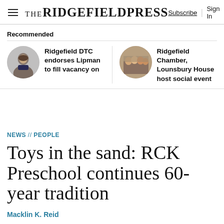The Ridgefield Press — Subscribe | Sign In
Recommended
[Figure (photo): Circular portrait photo of a man in a suit]
Ridgefield DTC endorses Lipman to fill vacancy on
[Figure (photo): Circular group photo of several people standing together]
Ridgefield Chamber, Lounsbury House host social event
NEWS // PEOPLE
Toys in the sand: RCK Preschool continues 60-year tradition
Macklin K. Reid